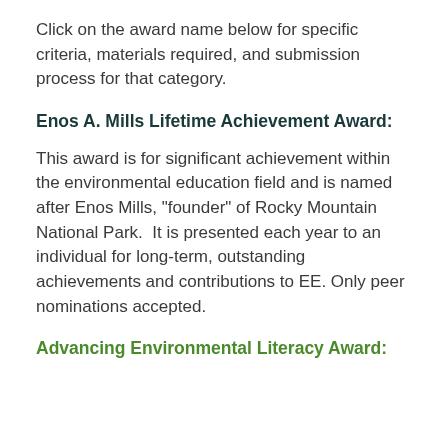Click on the award name below for specific criteria, materials required, and submission process for that category.
Enos A. Mills Lifetime Achievement Award:
This award is for significant achievement within the environmental education field and is named after Enos Mills, "founder" of Rocky Mountain National Park.  It is presented each year to an individual for long-term, outstanding achievements and contributions to EE. Only peer nominations accepted.
Advancing Environmental Literacy Award: